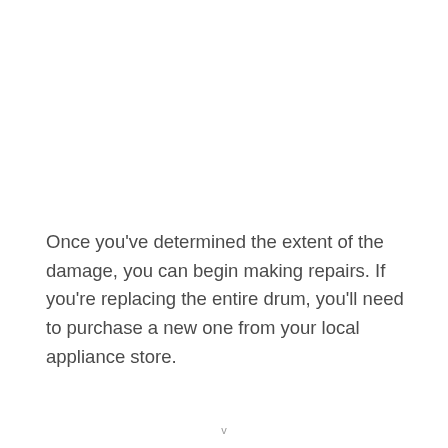Once you've determined the extent of the damage, you can begin making repairs. If you're replacing the entire drum, you'll need to purchase a new one from your local appliance store.
v